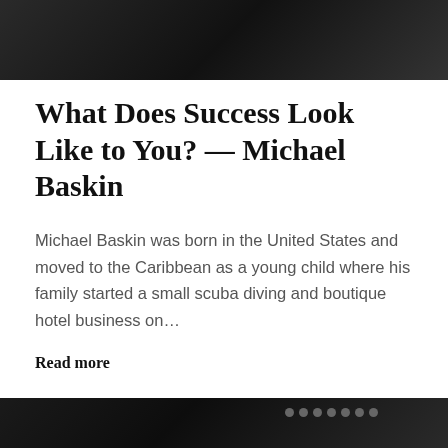[Figure (photo): Dark background image showing a laptop/computer desk in grayscale, cropped at the top of the page]
What Does Success Look Like to You? — Michael Baskin
Michael Baskin was born in the United States and moved to the Caribbean as a young child where his family started a small scuba diving and boutique hotel business on…
Read more
[Figure (photo): Dark background image showing a laptop/computer desk in grayscale, partially visible at the bottom of the page]